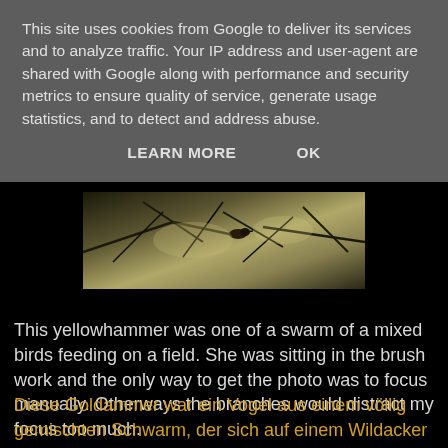This site uses cookies from Google to deliver its services and to analyze traffic. Your IP address and user-agent are shared with Google along with performance and security metrics to ensure quality of service, generate usage statistics, and to detect and address abuse.
LEARN MORE   OK
[Figure (photo): A yellowhammer bird sitting in brushwork/branches, landscape orientation photo strip, blurred background with branch silhouettes]
This yellowhammer was one of a swarm of a mixed birds feeding on a field. She was sitting in the brush work and the only way to get the photo was to focus manually. Otherways the branches would distract my focus too much.
Diese Goldammer war ein Vogel aus einem völlig gemischten Schwarm, der sich auf einem Wildacker sattfraß. Sie saß im Geäst und ich konnte nu...